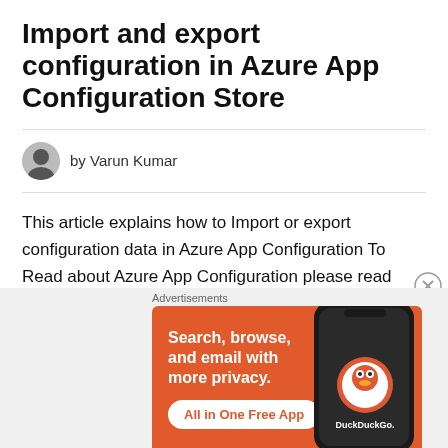Import and export configuration in Azure App Configuration Store
by Varun Kumar
This article explains how to Import or export configuration data in Azure App Configuration To Read about Azure App Configuration please read article: Managing App Settings made easy with Azure App Configuration. Azure App Configuration data import and export feature enables to work
Advertisements
[Figure (illustration): DuckDuckGo advertisement banner with orange background. Text reads: Search, browse, and email with more privacy. All in One Free App. Shows DuckDuckGo logo and a smartphone mockup.]